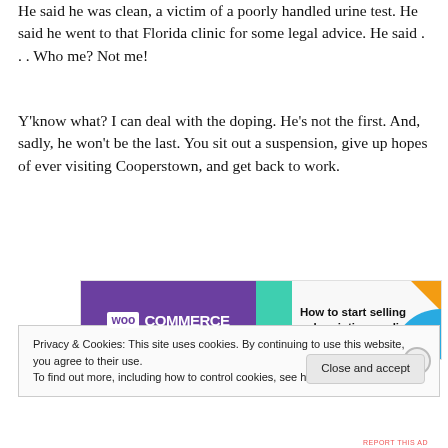He said he was clean, a victim of a poorly handled urine test. He said he went to that Florida clinic for some legal advice. He said . . . Who me? Not me!
Y'know what? I can deal with the doping. He's not the first. And, sadly, he won't be the last. You sit out a suspension, give up hopes of ever visiting Cooperstown, and get back to work.
[Figure (illustration): WooCommerce advertisement banner: 'How to start selling subscriptions online']
Privacy & Cookies: This site uses cookies. By continuing to use this website, you agree to their use.
To find out more, including how to control cookies, see here: Cookie Policy
Close and accept